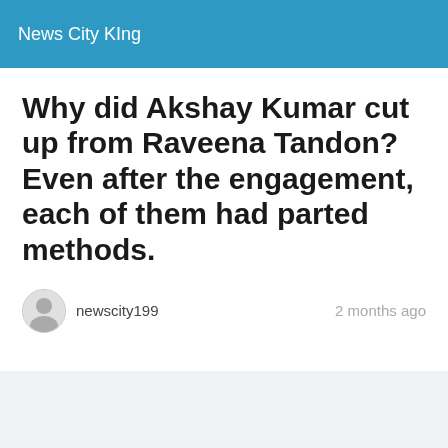News City KIng
Why did Akshay Kumar cut up from Raveena Tandon? Even after the engagement, each of them had parted methods.
newscity199    2 months ago